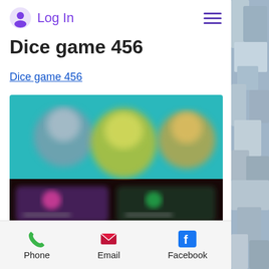Log In
Dice game 456
Dice game 456
[Figure (screenshot): Blurred screenshot of a dice/game app interface showing cartoon characters and game UI elements with dark background]
Phone  Email  Facebook